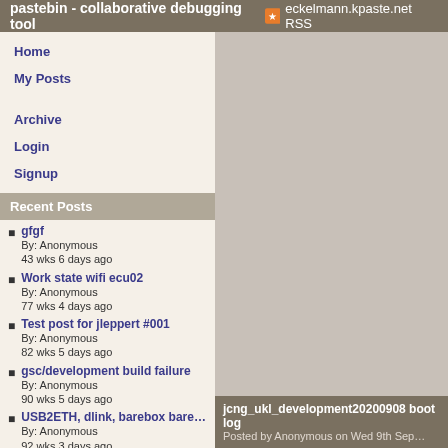pastebin - collaborative debugging tool | eckelmann.kpaste.net RSS
Home
My Posts
Archive
Login
Signup
Recent Posts
gfgf
By: Anonymous
43 wks 6 days ago
Work state wifi ecu02
By: Anonymous
77 wks 4 days ago
Test post for jleppert #001
By: Anonymous
82 wks 5 days ago
gsc/development build failure
By: Anonymous
90 wks 5 days ago
USB2ETH, dlink, barebox bare…
By: Anonymous
92 wks 3 days ago
USB2ETH, dlink, barebox 2016.…
By: Anonymous
92 wks 3 days ago
gsc badblock nandtest
By: Anonymous
92 wks 4 days ago
ecu02 barebox-Update via nan…
By: Anonymous
jcng_ukl_development20200908 boot log
Posted by Anonymous on Wed 9th Sep…